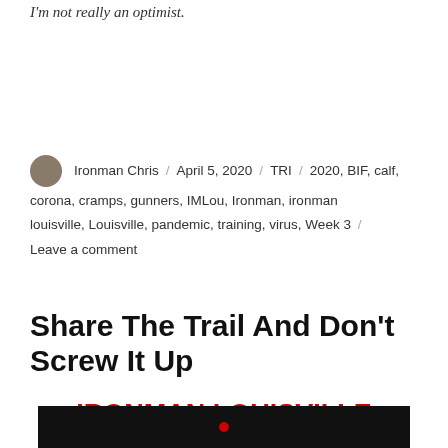I'm not really an optimist.
Ironman Chris / April 5, 2020 / TRI / 2020, BIF, calf, corona, cramps, gunners, IMLou, Ironman, ironman louisville, Louisville, pandemic, training, virus, Week 3 / Leave a comment
Share The Trail And Don't Screw It Up
IRONMAN LOUISVILLE 2020 TRAINING
[Figure (screenshot): Bottom portion of a video thumbnail with black background and a red circle/play indicator]